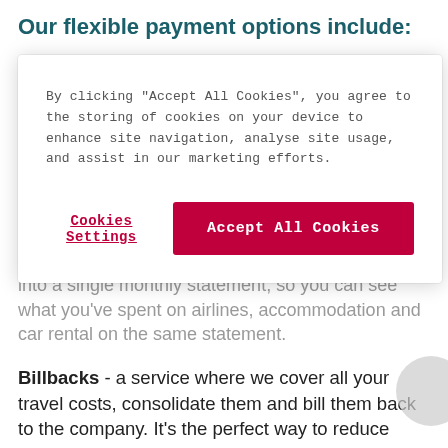Our flexible payment options include:
By clicking “Accept All Cookies”, you agree to the storing of cookies on your device to enhance site navigation, analyse site usage, and assist in our marketing efforts.
Cookies Settings | Accept All Cookies
consolidating and sorting all your travel expenses into a single monthly statement, so you can see what you’ve spent on airlines, accommodation and car rental on the same statement.
Billbacks - a service where we cover all your travel costs, consolidate them and bill them back to the company. It’s the perfect way to reduce fraud and control travel spend by setting limits on travel expenses.